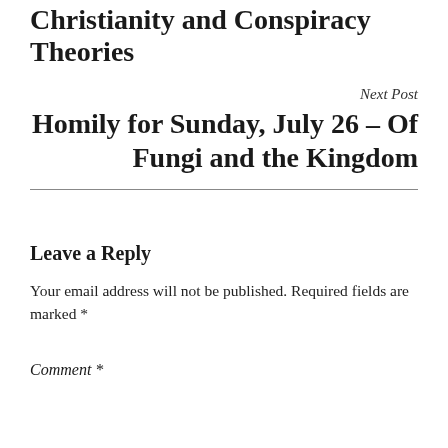Christianity and Conspiracy Theories
Next Post
Homily for Sunday, July 26 – Of Fungi and the Kingdom
Leave a Reply
Your email address will not be published. Required fields are marked *
Comment *